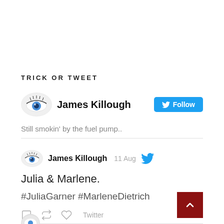TRICK OR TWEET
[Figure (screenshot): Twitter profile widget for James Killough with follow button and avatar (eye illustration)]
Still smokin' by the fuel pump..
[Figure (screenshot): Tweet from James Killough dated 11 Aug with Twitter bird icon, avatar (eye illustration)]
Julia & Marlene.
#JuliaGarner #MarleneDietrich
Twitter